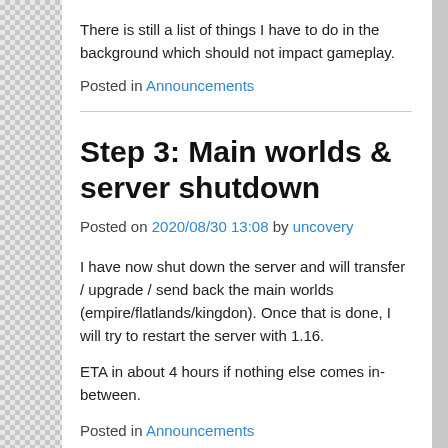There is still a list of things I have to do in the background which should not impact gameplay.
Posted in Announcements
Step 3: Main worlds & server shutdown
Posted on 2020/08/30 13:08 by uncovery
I have now shut down the server and will transfer / upgrade / send back the main worlds (empire/flatlands/kingdon). Once that is done, I will try to restart the server with 1.16.
ETA in about 4 hours if nothing else comes in-between.
Posted in Announcements